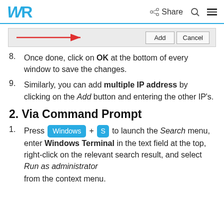WR | Share
[Figure (screenshot): Screenshot showing a dialog with a red arrow pointing right toward Add and Cancel buttons]
8. Once done, click on OK at the bottom of every window to save the changes.
9. Similarly, you can add multiple IP address by clicking on the Add button and entering the other IP's.
2. Via Command Prompt
1. Press Windows + S to launch the Search menu, enter Windows Terminal in the text field at the top, right-click on the relevant search result, and select Run as administrator from the context menu.